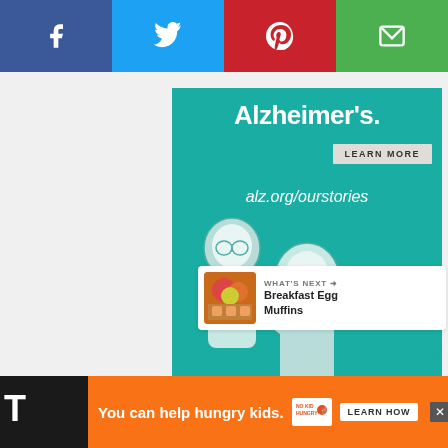[Figure (screenshot): Social media share bar with Facebook, Twitter, Pinterest, and Email buttons at the top of the page]
[Figure (photo): Alzheimer's Association advertisement banner on teal background showing illustrated figures of an elderly man and woman, with text 'Alzheimer's.', 'LEARN MORE' button, 'alz.org/ourstories' URL, and Alzheimer's Association logo with 'ad' marker]
[Figure (screenshot): Side panel with teal heart/like button showing 10.6K count and a share button below]
[Figure (screenshot): WHAT'S NEXT panel showing Breakfast Egg Muffins with thumbnail image]
[Figure (screenshot): Orange bottom banner advertisement: 'You can help hungry kids.' with No Kid Hungry logo and LEARN HOW button]
10.6K
WHAT'S NEXT
Breakfast Egg Muffins
You can help hungry kids.
LEARN HOW